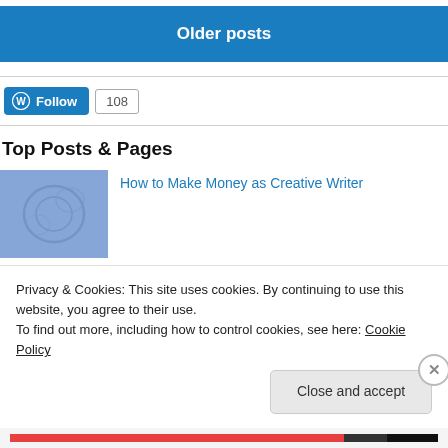Older posts
[Figure (other): WordPress Follow button widget showing follow count of 108]
Top Posts & Pages
[Figure (photo): Thumbnail image with blue/purple textured background]
How to Make Money as Creative Writer
Privacy & Cookies: This site uses cookies. By continuing to use this website, you agree to their use.
To find out more, including how to control cookies, see here: Cookie Policy
Close and accept